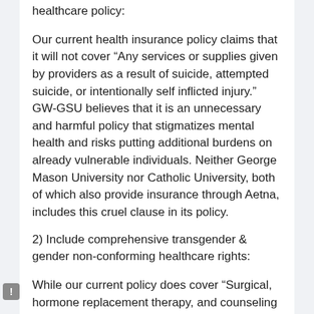healthcare policy:
Our current health insurance policy claims that it will not cover “Any services or supplies given by providers as a result of suicide, attempted suicide, or intentionally self inflicted injury.” GW-GSU believes that it is an unnecessary and harmful policy that stigmatizes mental health and risks putting additional burdens on already vulnerable individuals. Neither George Mason University nor Catholic University, both of which also provide insurance through Aetna, includes this cruel clause in its policy.
2) Include comprehensive transgender & gender non-conforming healthcare rights:
While our current policy does cover “Surgical, hormone replacement therapy, and counseling treatment” related to “gender reassignment,” it also claims that it will not pay for any “cosmetic” treatment. Some of these procedures deemed